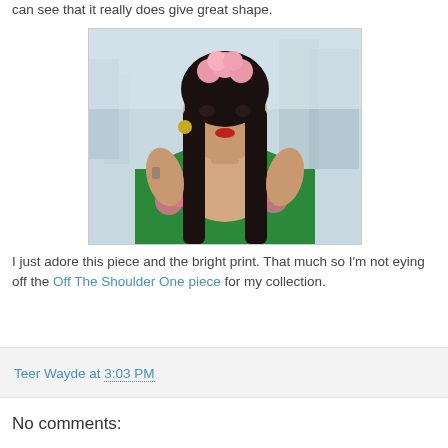can see that it really does give great shape.
[Figure (photo): Woman with dark hair wearing a green floral halter top with pink roses, pink flower headpiece, gold earrings, and red lips, posed against a city skyline background.]
I just adore this piece and the bright print. That much so I'm not eying off the Off The Shoulder One piece for my collection.
Teer Wayde at 3:03 PM
No comments: